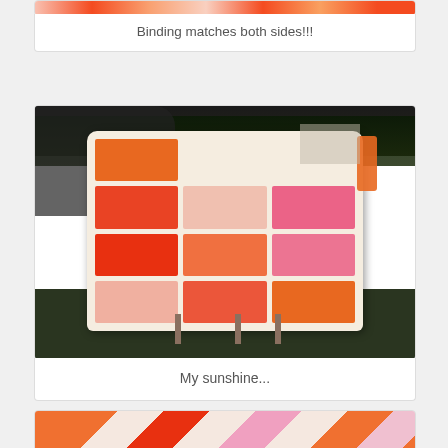[Figure (photo): Partial view of a colorful quilt showing red and orange patchwork fabric - top portion of card]
Binding matches both sides!!!
[Figure (photo): A colorful patchwork quilt draped over a stand outdoors on a lawn, featuring red, orange, and pink fabric squares on a cream background]
My sunshine...
[Figure (photo): Close-up partial view of a quilt showing orange, red, pink, and cream patchwork squares - bottom card, partially visible]